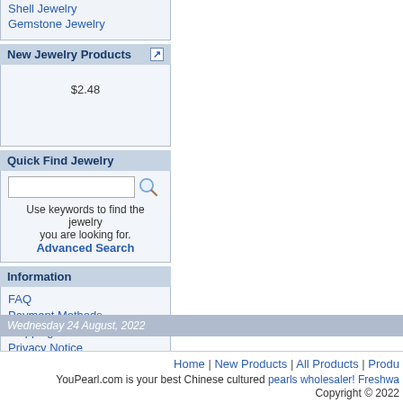Shell Jewelry
Gemstone Jewelry
New Jewelry Products
$2.48
Quick Find Jewelry
Use keywords to find the jewelry you are looking for.
Advanced Search
Information
FAQ
Payment Methods
Shipping & Returns
Privacy Notice
About Us
Contact Us
Wednesday 24 August, 2022
Home | New Products | All Products | Produ...
YouPearl.com is your best Chinese cultured pearls wholesaler! Freshwa... Copyright © 2022